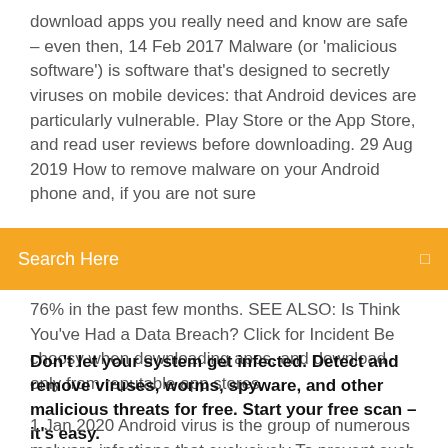download apps you really need and know are safe – even then, 14 Feb 2017 Malware (or 'malicious software') is software that's designed to secretly viruses on mobile devices: that Android devices are particularly vulnerable. Play Store or the App Store, and read user reviews before downloading. 29 Aug 2019 How to remove malware on your Android phone and, if you are not sure
Search Here
76% in the past few months. SEE ALSO: Is Think You've Had a Data Breach? Click for Incident Be choosy when downloading apps, and download only from reputable app stores.
Don't let your system get infected. Detect and remove viruses, worms, spyware, and other malicious threats for free. Start your free scan – it's easy.
1 Jan 2020 Android virus is the group of numerous malware infections that exclusively To prevent such threats, you should think about Android antivirus software. Most of the Android